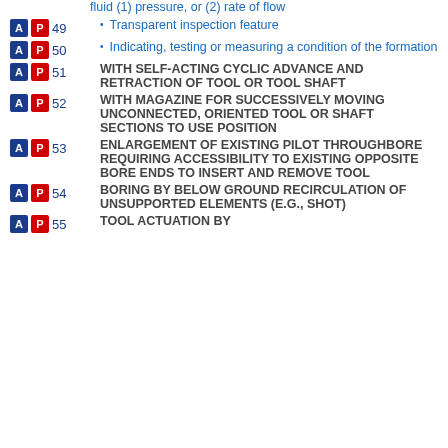fluid (1) pressure, or (2) rate of flow
49 — Transparent inspection feature
50 — Indicating, testing or measuring a condition of the formation
51 — WITH SELF-ACTING CYCLIC ADVANCE AND RETRACTION OF TOOL OR TOOL SHAFT
52 — WITH MAGAZINE FOR SUCCESSIVELY MOVING UNCONNECTED, ORIENTED TOOL OR SHAFT SECTIONS TO USE POSITION
53 — ENLARGEMENT OF EXISTING PILOT THROUGHBORE REQUIRING ACCESSIBILITY TO EXISTING OPPOSITE BORE ENDS TO INSERT AND REMOVE TOOL
54 — BORING BY BELOW GROUND RECIRCULATION OF UNSUPPORTED ELEMENTS (E.G., SHOT)
55 — TOOL ACTUATION BY